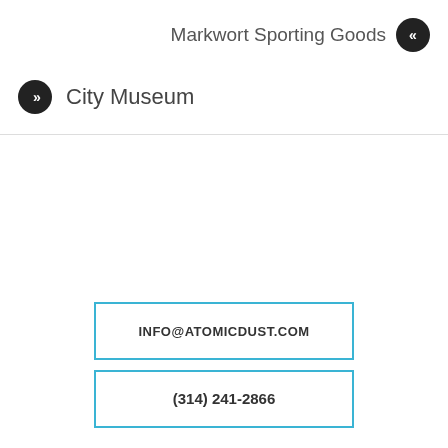Markwort Sporting Goods
City Museum
INFO@ATOMICDUST.COM
(314) 241-2866